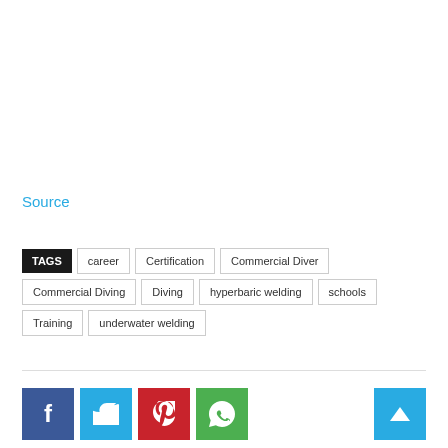Source
TAGS  career  Certification  Commercial Diver  Commercial Diving  Diving  hyperbaric welding  schools  Training  underwater welding